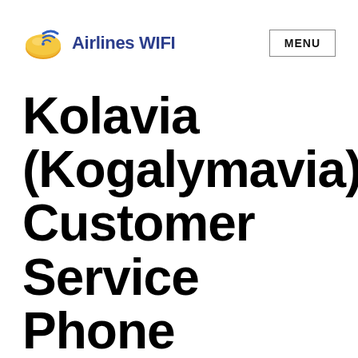Airlines WIFI
Kolavia (Kogalymavia) Customer Service Phone Number – What is Kolavia